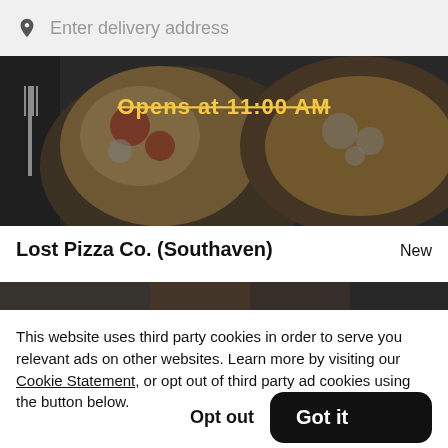Enter delivery address
[Figure (photo): Food photo showing pizzas with toppings, partially visible with a fork on the left. Text overlay reads 'Opens at 11:00 AM' in yellow.]
Lost Pizza Co. (Southaven)
New
[Figure (photo): Dark strip showing partial food/restaurant image.]
This website uses third party cookies in order to serve you relevant ads on other websites. Learn more by visiting our Cookie Statement, or opt out of third party ad cookies using the button below.
Opt out
Got it